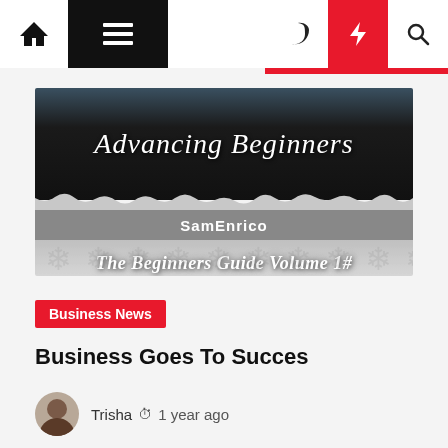Navigation bar with home, menu, dark mode, lightning, and search icons
[Figure (illustration): Book cover image: 'Advancing Beginners' by SamEnrico - The Beginners Guide Volume 1#]
Business News
Business Goes To Succes
Trisha  1 year ago